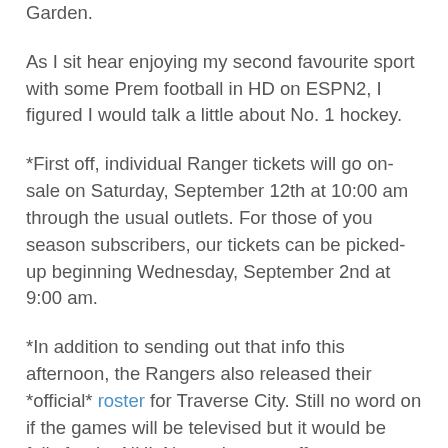Garden.
As I sit hear enjoying my second favourite sport with some Prem football in HD on ESPN2, I figured I would talk a little about No. 1 hockey.
*First off, individual Ranger tickets will go on-sale on Saturday, September 12th at 10:00 am through the usual outlets. For those of you season subscribers, our tickets can be picked-up beginning Wednesday, September 2nd at 9:00 am.
*In addition to sending out that info this afternoon, the Rangers also released their *official* roster for Traverse City. Still no word on if the games will be televised but it would be folly for the NHL Network not to offer up coverage. I don't know about you but I've seen Pens/Caps 18 times already this summer.
*Speaking of folly and hockey, how about this Direct TV/Versus battle? How ridiculous would it be for the NHL to lose their primary national network because Comcast plays